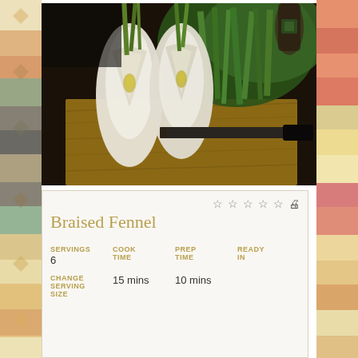[Figure (photo): Sliced fennel bulbs on a wooden cutting board with a knife and green herbs/vegetables in the background]
Braised Fennel
| SERVINGS | COOK TIME | PREP TIME | READY IN |
| --- | --- | --- | --- |
| 6 | 15 mins | 10 mins |  |